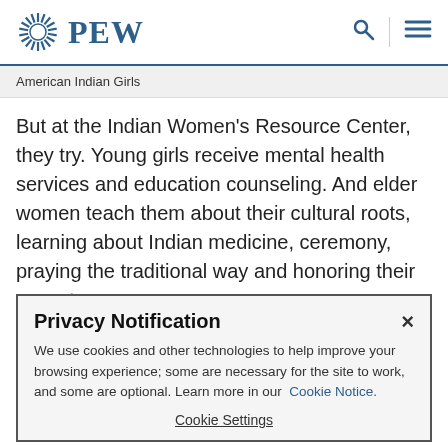PEW
American Indian Girls
But at the Indian Women's Resource Center, they try. Young girls receive mental health services and education counseling. And elder women teach them about their cultural roots, learning about Indian medicine, ceremony, praying the traditional way and honoring their ancestors.
Privacy Notification
We use cookies and other technologies to help improve your browsing experience; some are necessary for the site to work, and some are optional. Learn more in our Cookie Notice.
Cookie Settings